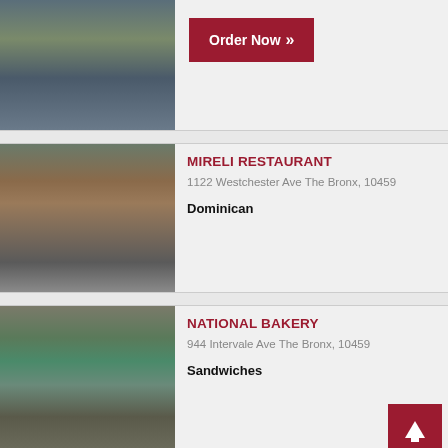[Figure (photo): Partial top listing showing a street view photo of a restaurant storefront, with an 'Order Now >>' button to the right]
Order Now >>
[Figure (photo): Photo of Mireli Restaurant storefront at 1122 Westchester Ave, The Bronx]
MIRELI RESTAURANT
1122 Westchester Ave The Bronx, 10459
Dominican
[Figure (photo): Photo of National Bakery storefront at 944 Intervale Ave, The Bronx, showing green awning with NATIONAL BAKERY & COFFEE]
NATIONAL BAKERY
944 Intervale Ave The Bronx, 10459
Sandwiches
[Figure (photo): Partial bottom listing showing another restaurant]